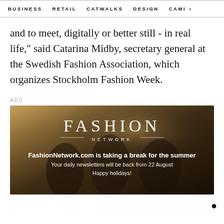BUSINESS   RETAIL   CATWALKS   DESIGN   CAMI  >
and to meet, digitally or better still - in real life,” said Catarina Midby, secretary general at the Swedish Fashion Association, which organizes Stockholm Fashion Week.
ADS
[Figure (photo): Fashion Network advertisement banner showing three young women standing in a field with arms outstretched. Overlay text reads: FASHION NETWORK. FashionNetwork.com is taking a break for the summer. Your daily newsletters will be back from 22 August. Happy holidays!]